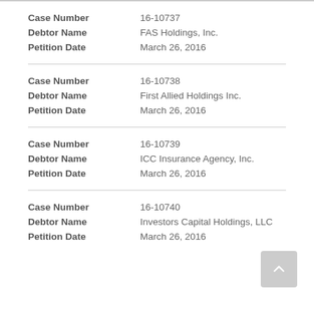| Field | Value |
| --- | --- |
| Case Number | 16-10737 |
| Debtor Name | FAS Holdings, Inc. |
| Petition Date | March 26, 2016 |
| Case Number | 16-10738 |
| Debtor Name | First Allied Holdings Inc. |
| Petition Date | March 26, 2016 |
| Case Number | 16-10739 |
| Debtor Name | ICC Insurance Agency, Inc. |
| Petition Date | March 26, 2016 |
| Case Number | 16-10740 |
| Debtor Name | Investors Capital Holdings, LLC |
| Petition Date | March 26, 2016 |